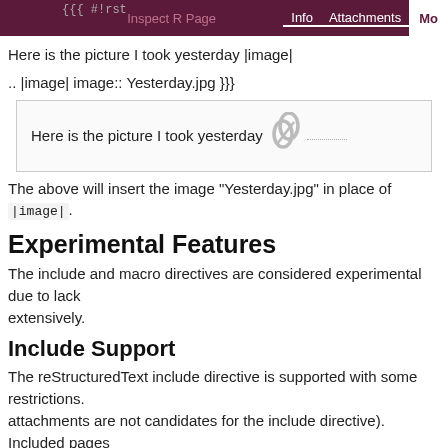Info   Attachments   Mo
{{{ #!rst
Here is the picture I took yesterday |image|
.. |image| image:: Yesterday.jpg }}}
[Figure (screenshot): Rendered output box showing 'Here is the picture I took yesterday' with a paperclip attachment icon and dotted underline link]
The above will insert the image "Yesterday.jpg" in place of |image|.
Experimental Features
The include and macro directives are considered experimental due to lack of testing extensively.
Include Support
The reStructuredText include directive is supported with some restrictions. attachments are not candidates for the include directive). Included pages produce improperly formatted documents). For example, the following wor
{{{ #!rst